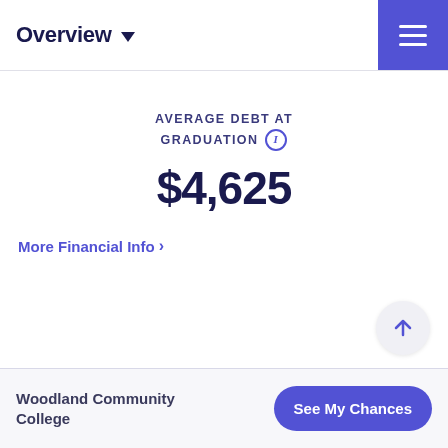Overview
AVERAGE DEBT AT GRADUATION $4,625
More Financial Info ›
Woodland Community College  See My Chances